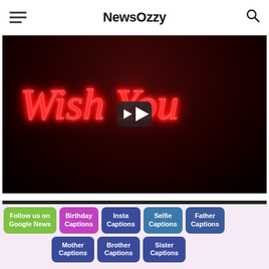NewsOzzy
[Figure (screenshot): Video thumbnail showing neon cursive text 'Wish You' in red on dark background with a YouTube-style play button overlay]
[Figure (screenshot): YouTube video info bar showing a circular avatar, title 'Happy new year 2022🎊 New year ...' and a three-dot menu icon]
Follow us on Google News
Birthday Captions
Insta Captions
Selfie Captions
Father Captions
Mother Captions
Brother Captions
Sister Captions